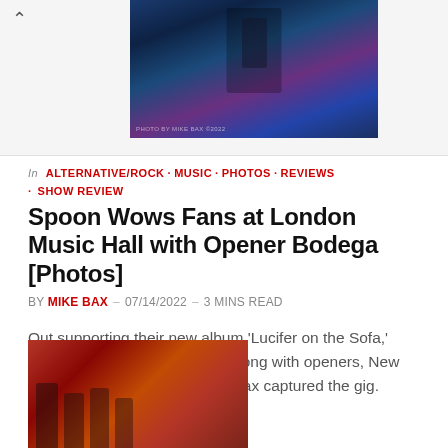[Figure (photo): Concert photo showing a performer on stage with blue and purple lighting, partially cropped at top of page]
In ALTERNATIVE/ROCK · MUSIC · PHOTOS · REVIEWS · SHOW REVIEW
Spoon Wows Fans at London Music Hall with Opener Bodega [Photos]
BY MIKE BAX – 07/14/2022 – 3 MINS READ
Out supporting their new album 'Lucifer on the Sofa,' Spoon hit London Music Hall along with openers, New York five-piece Bodega. Mike Bax captured the gig.
[Figure (photo): Band photo showing group of people in front of red/orange draped fabric background]